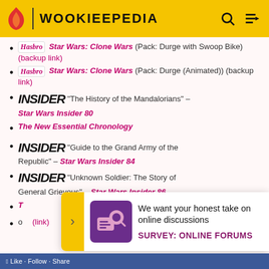WOOKIEEPEDIA
Star Wars: Clone Wars (Pack: Durge with Swoop Bike) (backup link)
Star Wars: Clone Wars (Pack: Durge (Animated)) (backup link)
"The History of the Mandalorians" – Star Wars Insider 80
The New Essential Chronology
"Guide to the Grand Army of the Republic" – Star Wars Insider 84
"Unknown Soldier: The Story of General Grievous" – Star Wars Insider 86
[Figure (infographic): Survey popup overlay: 'We want your honest take on online discussions' with SURVEY: ONLINE FORUMS button, purple icon with magnifying glass graphic]